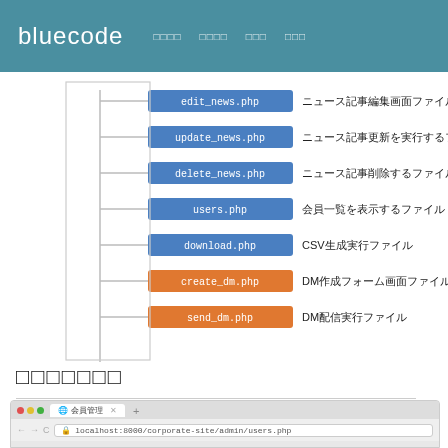bluecode　□□□□　□□□□　□□□　□□□
[Figure (flowchart): File structure diagram showing PHP files connected by tree lines: edit_news.php (blue) - ニュース記事編集画面ファイル, update_news.php (blue) - ニュース記事更新を実行するファイル, delete_news.php (blue) - ニュース記事削除するファイル, users.php (blue) - 会員一覧を表示するファイル, download.php (blue) - CSV生成実行ファイル, create_dm.php (orange) - DM作成フォーム画面ファイル, send_dm.php (orange) - DM配信実行ファイル]
□□□□□□□
□□□□
[Figure (screenshot): Browser screenshot showing localhost:8000/corporate-site/admin/users.php]